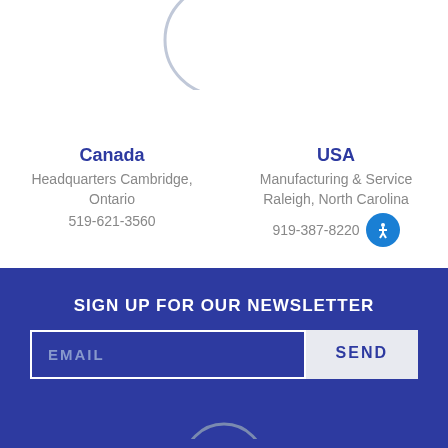[Figure (illustration): Circular arc decorations at the top of the page, two partial circle outlines in light grey]
Canada
Headquarters Cambridge, Ontario
519-621-3560
USA
Manufacturing & Service Raleigh, North Carolina
919-387-8220
SIGN UP FOR OUR NEWSLETTER
EMAIL
SEND
[Figure (illustration): Partial circular arc decoration at the bottom of the dark blue section]